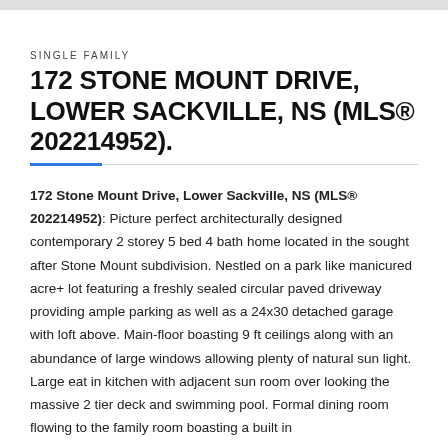SINGLE FAMILY
172 STONE MOUNT DRIVE, LOWER SACKVILLE, NS (MLS® 202214952).
172 Stone Mount Drive, Lower Sackville, NS (MLS® 202214952): Picture perfect architecturally designed contemporary 2 storey 5 bed 4 bath home located in the sought after Stone Mount subdivision. Nestled on a park like manicured acre+ lot featuring a freshly sealed circular paved driveway providing ample parking as well as a 24x30 detached garage with loft above. Main-floor boasting 9 ft ceilings along with an abundance of large windows allowing plenty of natural sun light. Large eat in kitchen with adjacent sun room over looking the massive 2 tier deck and swimming pool. Formal dining room flowing to the family room boasting a built in